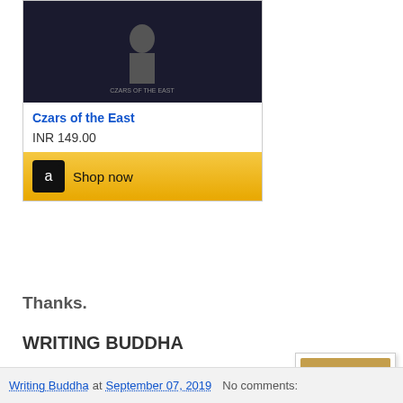[Figure (other): Amazon product card showing book cover for 'Czars of the East' with price INR 149.00 and Shop now button]
Thanks.
WRITING BUDDHA
[Figure (logo): ARB - Abhilash Ruhela Blog logo on tan/parchment background]
Writing Buddha at September 07, 2019   No comments: